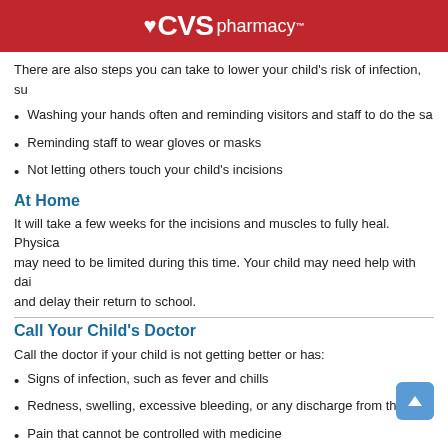CVS pharmacy
There are also steps you can take to lower your child's risk of infection, su
Washing your hands often and reminding visitors and staff to do the sa
Reminding staff to wear gloves or masks
Not letting others touch your child's incisions
At Home
It will take a few weeks for the incisions and muscles to fully heal. Physica may need to be limited during this time. Your child may need help with dai and delay their return to school.
Call Your Child's Doctor
Call the doctor if your child is not getting better or has:
Signs of infection, such as fever and chills
Redness, swelling, excessive bleeding, or any discharge from the incis
Pain that cannot be controlled with medicine
Severe belly pain
Been vomiting blood
Dark-colored, tarry stools or blood in the stool
If you think your child has an emergency, call for medical help right away.